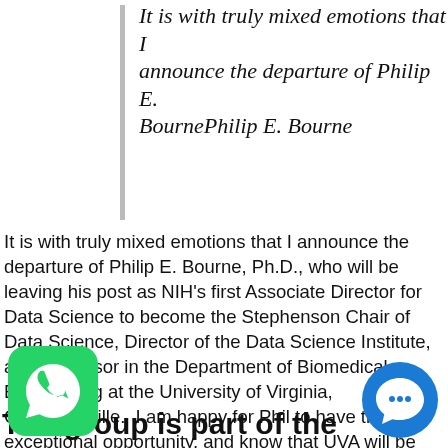It is with truly mixed emotions that I announce the departure of Philip E. BournePhilip E. Bourne
It is with truly mixed emotions that I announce the departure of Philip E. Bourne, Ph.D., who will be leaving his post as NIH's first Associate Director for Data Science to become the Stephenson Chair of Data Science, Director of the Data Science Institute, and Professor in the Department of Biomedical Engineering at the University of Virginia, Charlottesville.  I am happy for Phil to have this exceptional opportunity, and know that UVA will be well served by his depth of knowledge in data science.  At the same time, I am saddened that NIH will be losing his prowess and passion for tackling the opportunities and challenges of our increasingly data-driven biomedical research enterprise.
The group is part of the Hepatic Vascul